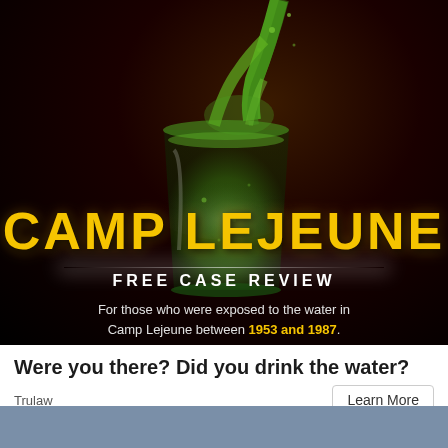[Figure (infographic): Dark advertisement image featuring a glass being filled with green-tinted water splashing dramatically. Large yellow distressed text reads CAMP LEJEUNE across the middle. Below it, white text reads FREE CASE REVIEW. At the bottom of the image: 'For those who were exposed to the water in Camp Lejeune between 1953 and 1987.' Years are highlighted in yellow.]
Were you there? Did you drink the water?
Trulaw